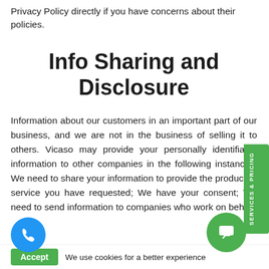Privacy Policy directly if you have concerns about their policies.
Info Sharing and Disclosure
Information about our customers in an important part of our business, and we are not in the business of selling it to others. Vicaso may provide your personally identifiable information to other companies in the following instances: We need to share your information to provide the product or service you have requested; We have your consent; We need to send information to companies who work on behalf of
Accept  We use cookies for a better experience